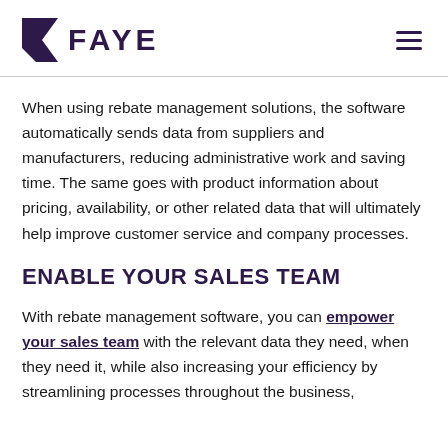FAYE
When using rebate management solutions, the software automatically sends data from suppliers and manufacturers, reducing administrative work and saving time. The same goes with product information about pricing, availability, or other related data that will ultimately help improve customer service and company processes.
ENABLE YOUR SALES TEAM
With rebate management software, you can empower your sales team with the relevant data they need, when they need it, while also increasing your efficiency by streamlining processes throughout the business,